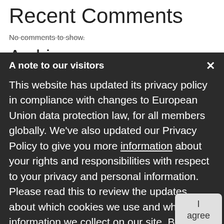Recent Comments
No comments to show.
Archives
August 2022
July 2022
May 2022
April 2022
March 2022
[Figure (screenshot): GDPR/privacy policy popup overlay on a website. Dark background with white text. Header: 'A note to our visitors'. Body text: 'This website has updated its privacy policy in compliance with changes to European Union data protection law, for all members globally. We've also updated our Privacy Policy to give you more information about your rights and responsibilities with respect to your privacy and personal information. Please read this to review the updates about which cookies we use and what information we collect on our site. By continuing to use this site, you are agreeing to our updated'. Contains an 'I agree' button, 'Need Help?' button, and chat icon.]